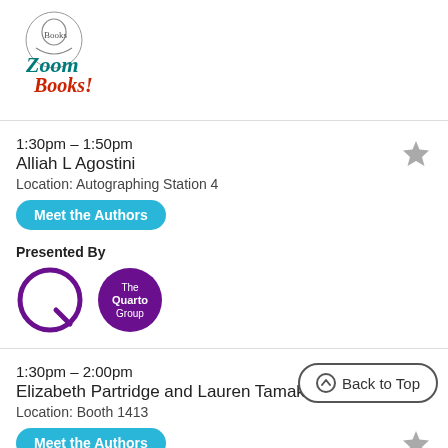[Figure (logo): Zoom Books logo with illustrated figure and teal/red text]
1:30pm – 1:50pm
Alliah L Agostini
Location: Autographing Station 4
Meet the Authors
Presented By
[Figure (logo): The Quarto Group logo - purple Q circle and filled purple circle with text]
1:30pm – 2:00pm
Elizabeth Partridge and Lauren Tamaki
Location: Booth 1413
Meet the Authors
Presented By